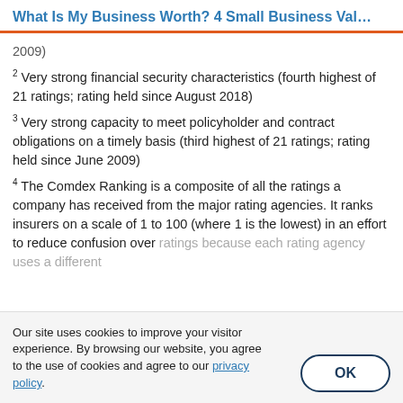What Is My Business Worth? 4 Small Business Val…
2009)
2 Very strong financial security characteristics (fourth highest of 21 ratings; rating held since August 2018)
3 Very strong capacity to meet policyholder and contract obligations on a timely basis (third highest of 21 ratings; rating held since June 2009)
4 The Comdex Ranking is a composite of all the ratings a company has received from the major rating agencies. It ranks insurers on a scale of 1 to 100 (where 1 is the lowest) in an effort to reduce confusion over ratings because each rating agency uses a different
Our site uses cookies to improve your visitor experience. By browsing our website, you agree to the use of cookies and agree to our privacy policy.